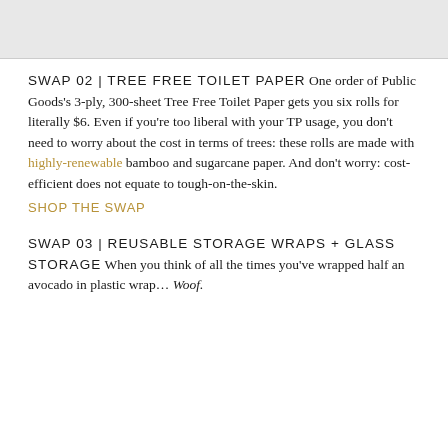[Figure (photo): Top portion of image showing white toilet paper rolls against a light gray background, partially cropped.]
SWAP 02 | TREE FREE TOILET PAPER One order of Public Goods's 3-ply, 300-sheet Tree Free Toilet Paper gets you six rolls for literally $6. Even if you're too liberal with your TP usage, you don't need to worry about the cost in terms of trees: these rolls are made with highly-renewable bamboo and sugarcane paper. And don't worry: cost-efficient does not equate to tough-on-the-skin.
SHOP THE SWAP
SWAP 03 | REUSABLE STORAGE WRAPS + GLASS STORAGE When you think of all the times you've wrapped half an avocado in plastic wrap… Woof.